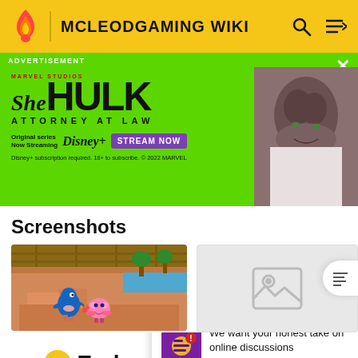MCLEODGAMING WIKI
[Figure (screenshot): She-Hulk Attorney at Law advertisement banner on green background with actress photo]
Screenshots
[Figure (screenshot): Game screenshot showing Sonic and Kirby characters on a sandy/rocky platform with blue sky]
[Figure (photo): Placeholder image icon (no image loaded)]
Sonic
Early
We want your honest take on online discussions
SURVEY: ONLINE FORUMS